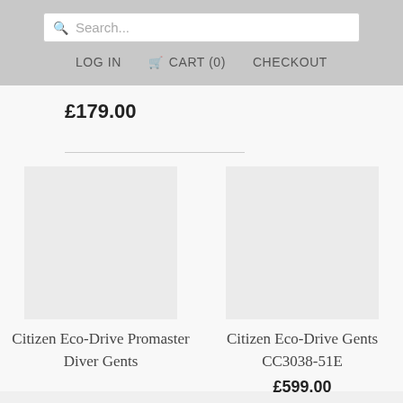Search...
LOG IN   CART (0)   CHECKOUT
£179.00
Citizen Eco-Drive Promaster Diver Gents
Citizen Eco-Drive Gents CC3038-51E
£599.00